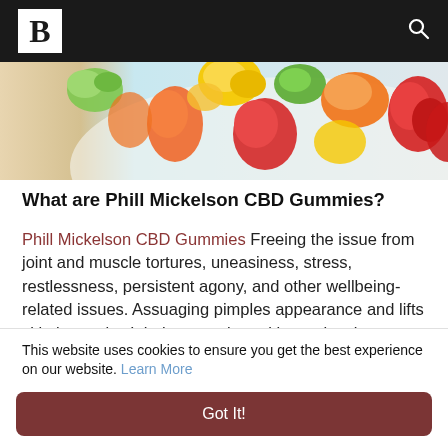B
[Figure (photo): Colorful gummy bear candies in red, orange, yellow, and green on a white plate, partially cut off at top]
What are Phill Mickelson CBD Gummies?
Phill Mickelson CBD Gummies Freeing the issue from joint and muscle tortures, uneasiness, stress, restlessness, persistent agony, and other wellbeing-related issues. Assuaging pimples appearance and lifts skin immunity. It helps muscle and bone development. It offers a cool as a cucumber mind by cutting down sensations of uneasiness.Phill Mickelson CBD GummiesIt supplies an
This website uses cookies to ensure you get the best experience on our website. Learn More
Got It!